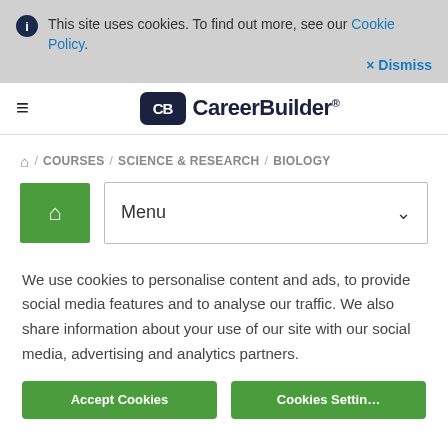This site uses cookies. To find out more, see our Cookie Policy.
× Dismiss
[Figure (logo): CareerBuilder logo with CB monogram icon]
🏠 / COURSES / SCIENCE & RESEARCH / BIOLOGY
Menu
We use cookies to personalise content and ads, to provide social media features and to analyse our traffic. We also share information about your use of our site with our social media, advertising and analytics partners.
Accept Cookies
Cookies Settings